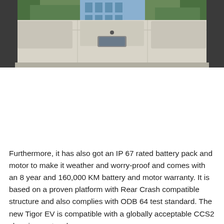[Figure (photo): Interior view of a car looking upward toward the roof/headliner, with trees and buildings visible through the windshield in the background.]
Furthermore, it has also got an IP 67 rated battery pack and motor to make it weather and worry-proof and comes with an 8 year and 160,000 KM battery and motor warranty. It is based on a proven platform with Rear Crash compatible structure and also complies with ODB 64 test standard. The new Tigor EV is compatible with a globally acceptable CCS2 charging protocol